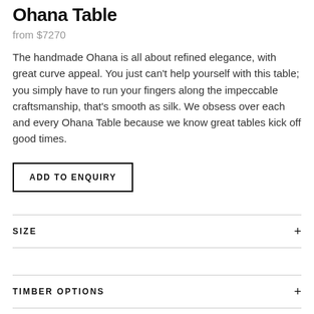Ohana Table
from $7270
The handmade Ohana is all about refined elegance, with great curve appeal. You just can't help yourself with this table; you simply have to run your fingers along the impeccable craftsmanship, that's smooth as silk. We obsess over each and every Ohana Table because we know great tables kick off good times.
ADD TO ENQUIRY
SIZE
TIMBER OPTIONS